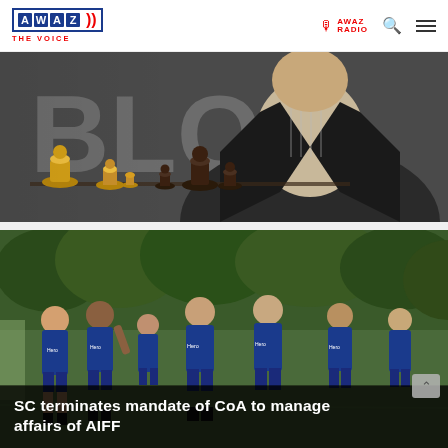AWAZ THE VOICE | AWAZ RADIO
[Figure (photo): A person in a dark business suit seated behind a chess board with gold and dark chess pieces, blurred background showing large letters.]
[Figure (photo): Indian national football team players in blue Hero-sponsored jerseys running/jogging during a training session outdoors with green trees in background.]
SC terminates mandate of CoA to manage affairs of AIFF